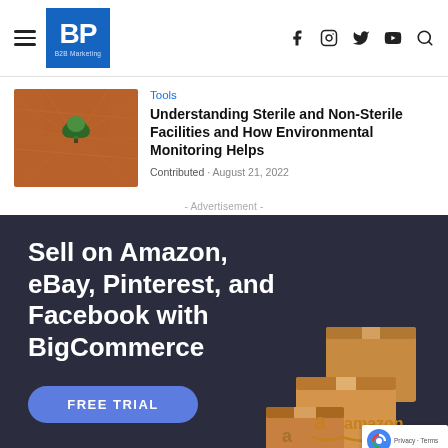BP B2B Marketing — navigation header with hamburger menu, BP logo, and social icons (Facebook, Instagram, Twitter, YouTube, Search)
Tools
Understanding Sterile and Non-Sterile Facilities and How Environmental Monitoring Helps
Contributed · August 21, 2022
- Advertisement -
[Figure (infographic): BigCommerce advertisement: dark navy background with large white text 'Sell on Amazon, eBay, Pinterest, and Facebook with BigCommerce', a blue 'FREE TRIAL' button, and Amazon shipping boxes illustration in the lower right.]